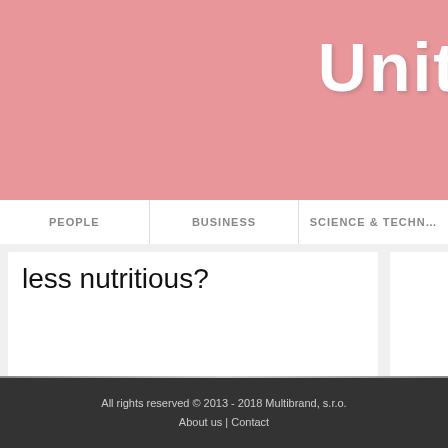[Figure (screenshot): Pink website header background with partial logo text 'Unit' visible at top right in white bold font]
PEOPLE | BUSINESS | SCIENCE & TECHN…
less nutritious?
✎ UNITEDLIFE
✎ UNITEDLIFE UnitedLife 08…
All rights reserved © 2013 - 2018 Multibrand, s.r.o. About us | Contact